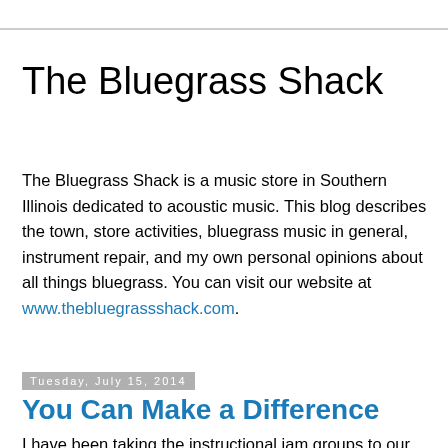The Bluegrass Shack
The Bluegrass Shack is a music store in Southern Illinois dedicated to acoustic music. This blog describes the town, store activities, bluegrass music in general, instrument repair, and my own personal opinions about all things bluegrass. You can visit our website at www.thebluegrassshack.com.
Tuesday, July 15, 2014
You Can Make a Difference
I have been taking the instructional jam groups to our local nursing home for the past several years now.  Each group practices the songs for several months or so until they start to come together, then everyone volunteers for breaks and